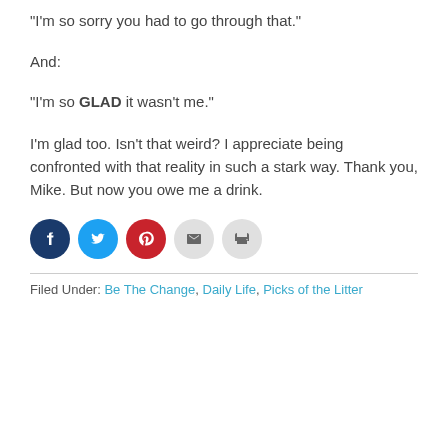“I’m so sorry you had to go through that.”
And:
“I’m so GLAD it wasn’t me.”
I’m glad too. Isn’t that weird? I appreciate being confronted with that reality in such a stark way. Thank you, Mike. But now you owe me a drink.
[Figure (infographic): Social sharing icons: Facebook (dark blue circle), Twitter (light blue circle), Pinterest (red circle), Email (light grey circle), Print (light grey circle)]
Filed Under: Be The Change, Daily Life, Picks of the Litter